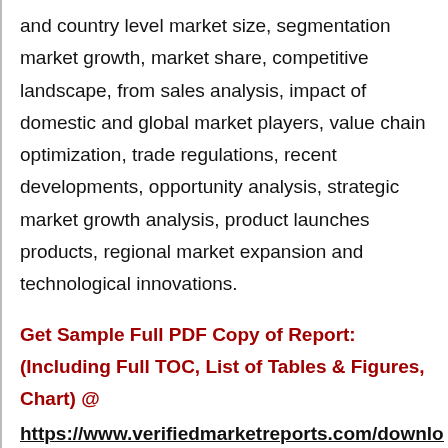and country level market size, segmentation market growth, market share, competitive landscape, from sales analysis, impact of domestic and global market players, value chain optimization, trade regulations, recent developments, opportunity analysis, strategic market growth analysis, product launches products, regional market expansion and technological innovations.
Get Sample Full PDF Copy of Report: (Including Full TOC, List of Tables & Figures, Chart) @ https://www.verifiedmarketreports.com/download-sample/?rid=80265